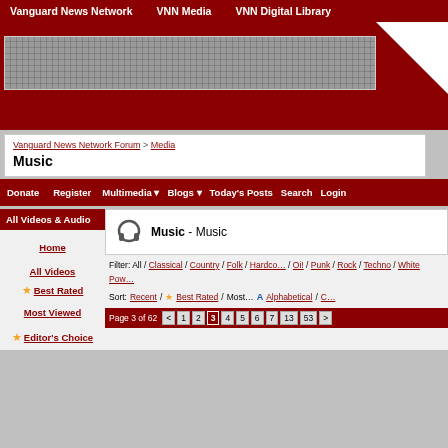Vanguard News Network | VNN Media | VNN Digital Library
[Figure (screenshot): Website banner with dark red background and grid-patterned graphic element]
Vanguard News Network Forum > Media - Music
Donate | Register | Multimedia | Blogs | Today's Posts | Search | Login
All Videos & Audio
Home
All Videos
★ Best Rated
Most Viewed
★ Editor's Choice
Music - Music
Filter: All / Classical / Country / Folk / Hardcore / Oi! / Punk / Rock / Techno / White Power
Sort: Recent / ★ Best Rated / Most... Alphabetical / C...
Page 3 of 62 < 1 2 3 4 5 6 7 13 53 >